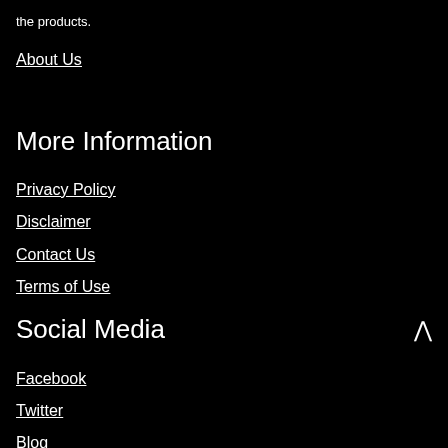the products.
About Us
More Information
Privacy Policy
Disclaimer
Contact Us
Terms of Use
Social Media
Facebook
Twitter
Blog